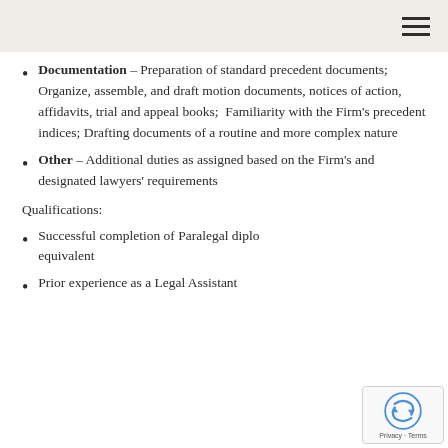Navigation menu icon
Documentation – Preparation of standard precedent documents; Organize, assemble, and draft motion documents, notices of action, affidavits, trial and appeal books;  Familiarity with the Firm's precedent indices; Drafting documents of a routine and more complex nature
Other – Additional duties as assigned based on the Firm's and designated lawyers' requirements
Qualifications:
Successful completion of Paralegal diploma or equivalent
Prior experience as a Legal Assistant